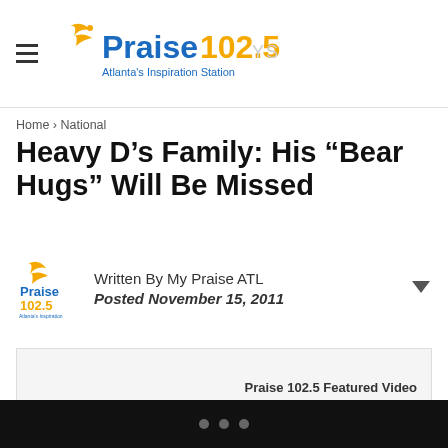Praise 102.5 Atlanta's Inspiration Station — NEWS / NATIONAL
Home › National
Heavy D's Family: His “Bear Hugs” Will Be Missed
Written By My Praise ATL
Posted November 15, 2011
[Figure (other): Praise 102.5 Featured Video box with label text]
Heavy D's family has released a statement concerning the